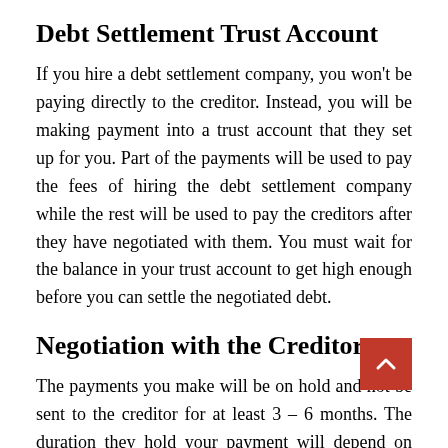Debt Settlement Trust Account
If you hire a debt settlement company, you won't be paying directly to the creditor. Instead, you will be making payment into a trust account that they set up for you. Part of the payments will be used to pay the fees of hiring the debt settlement company while the rest will be used to pay the creditors after they have negotiated with them. You must wait for the balance in your trust account to get high enough before you can settle the negotiated debt.
Negotiation with the Creditors
The payments you make will be on hold and not be sent to the creditor for at least 3 – 6 months. The duration they hold your payment will depend on your financial situation. They will be negotiating with the creditor until they agree on the settlement amount. In the meantime, something that